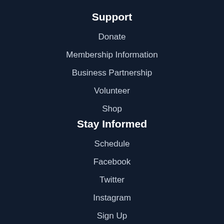Support
Donate
Membership Information
Business Partnership
Volunteer
Shop
Stay Informed
Schedule
Facebook
Twitter
Instagram
Sign Up